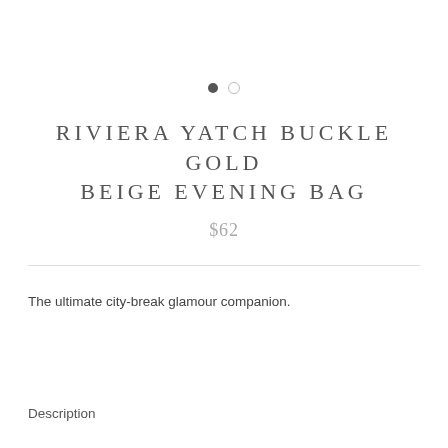[Figure (other): Two navigation dots: one filled dark, one empty circle outline]
RIVIERA YATCH BUCKLE GOLD BEIGE EVENING BAG
$62
The ultimate city-break glamour companion.
Description